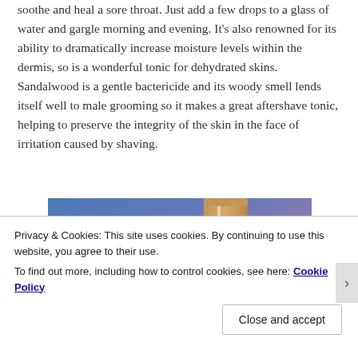soothe and heal a sore throat. Just add a few drops to a glass of water and gargle morning and evening. It's also renowned for its ability to dramatically increase moisture levels within the dermis, so is a wonderful tonic for dehydrated skins. Sandalwood is a gentle bactericide and its woody smell lends itself well to male grooming so it makes a great aftershave tonic, helping to preserve the integrity of the skin in the face of irritation caused by shaving.
[Figure (photo): Partial product image showing a blue-to-purple gradient background with a tan/brown bottle or product partially visible on the right side]
Privacy & Cookies: This site uses cookies. By continuing to use this website, you agree to their use.
To find out more, including how to control cookies, see here: Cookie Policy
Close and accept